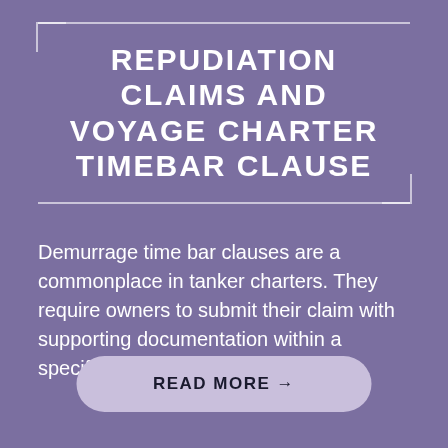REPUDIATION CLAIMS AND VOYAGE CHARTER TIMEBAR CLAUSE
Demurrage time bar clauses are a commonplace in tanker charters. They require owners to submit their claim with supporting documentation within a specified period of time after...
READ MORE →